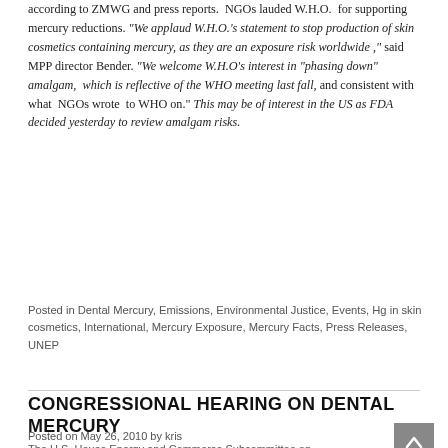according to ZMWG and press reports.  NGOs lauded W.H.O.  for supporting mercury reductions. "We applaud W.H.O.'s statement to stop production of skin cosmetics containing mercury, as they are an exposure risk worldwide ," said MPP director Bender. "We welcome W.H.O's interest in "phasing down" amalgam,  which is reflective of the WHO meeting last fall, and consistent with what  NGOs wrote  to WHO on." This may be of interest in the US as FDA decided yesterday to review amalgam risks.
Posted in Dental Mercury, Emissions, Environmental Justice, Events, Hg in skin cosmetics, International, Mercury Exposure, Mercury Facts, Press Releases, UNEP
CONGRESSIONAL HEARING ON DENTAL MERCURY
Posted on May 26, 2010 by kris
The U.S. House Energy and Commerce Subcommittee on...